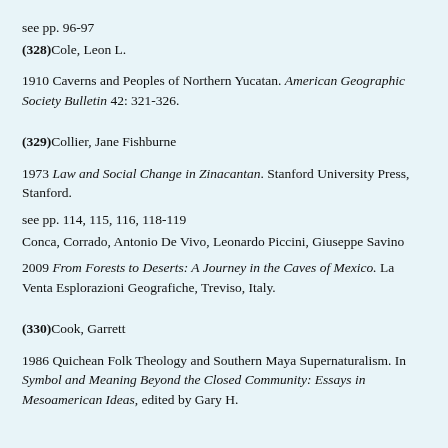see pp. 96-97
(328)Cole, Leon L.
1910 Caverns and Peoples of Northern Yucatan. American Geographic Society Bulletin 42: 321-326.
(329)Collier, Jane Fishburne
1973 Law and Social Change in Zinacantan. Stanford University Press, Stanford.
see pp. 114, 115, 116, 118-119
Conca, Corrado, Antonio De Vivo, Leonardo Piccini, Giuseppe Savino
2009 From Forests to Deserts: A Journey in the Caves of Mexico. La Venta Esplorazioni Geografiche, Treviso, Italy.
(330)Cook, Garrett
1986 Quichean Folk Theology and Southern Maya Supernaturalism. In Symbol and Meaning Beyond the Closed Community: Essays in Mesoamerican Ideas, edited by Gary H.